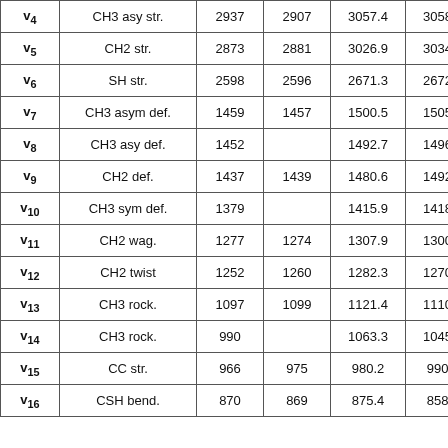| v4 | CH3 asy str. | 2937 | 2907 | 3057.4 | 3058.2 |
| v5 | CH2 str. | 2873 | 2881 | 3026.9 | 3034.6 |
| v6 | SH str. | 2598 | 2596 | 2671.3 | 2672.8 |
| v7 | CH3 asym def. | 1459 | 1457 | 1500.5 | 1505.8 |
| v8 | CH3 asy def. | 1452 |  | 1492.7 | 1496.0 |
| v9 | CH2 def. | 1437 | 1439 | 1480.6 | 1492.8 |
| v10 | CH3 sym def. | 1379 |  | 1415.9 | 1418.8 |
| v11 | CH2 wag. | 1277 | 1274 | 1307.9 | 1300.9 |
| v12 | CH2 twist | 1252 | 1260 | 1282.3 | 1270.7 |
| v13 | CH3 rock. | 1097 | 1099 | 1121.4 | 1110.5 |
| v14 | CH3 rock. | 990 |  | 1063.3 | 1045.4 |
| v15 | CC str. | 966 | 975 | 980.2 | 990.2 |
| v16 | CSH bend. | 870 | 869 | 875.4 | 858.1 |